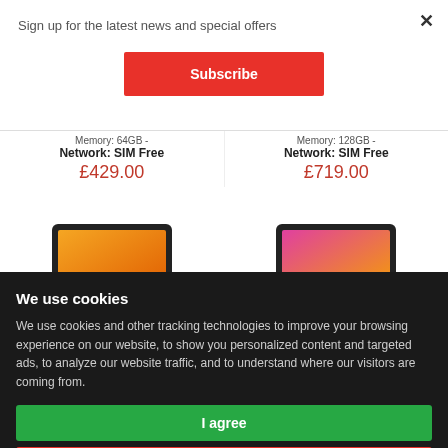Sign up for the latest news and special offers
Subscribe
Memory: 64GB
Network: SIM Free
£429.00
Memory: 128GB
Network: SIM Free
£719.00
[Figure (photo): Tablet device with orange/yellow gradient wallpaper]
[Figure (photo): Tablet device with pink/orange gradient wallpaper]
We use cookies
We use cookies and other tracking technologies to improve your browsing experience on our website, to show you personalized content and targeted ads, to analyze our website traffic, and to understand where our visitors are coming from.
I agree
I decline